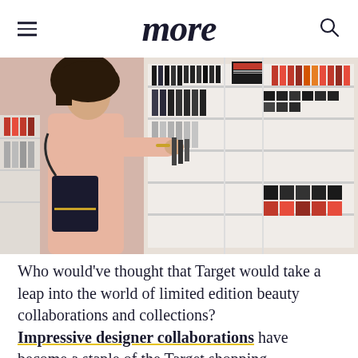more
[Figure (photo): A woman in a pink turtleneck top with a black crossbody bag browsing makeup products at a cosmetics display in a Target store, reaching toward shelves filled with various beauty products.]
Who would've thought that Target would take a leap into the world of limited edition beauty collaborations and collections? Impressive designer collaborations have become a staple of the Target shopping